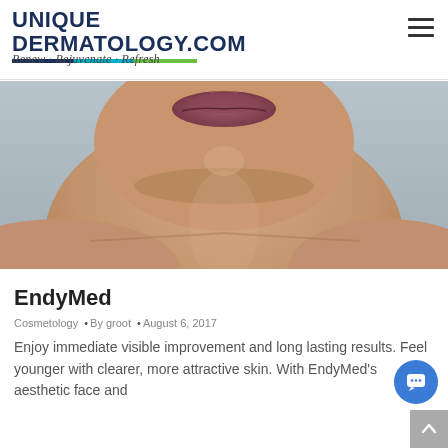UNIQUE DERMATOLOGY.COM — Renew · Rejuvenate · Refresh
[Figure (photo): Close-up photo of a woman's lower face and neck showing lips, chin, and decolletage against a grey background — dermatology/aesthetic treatment promotional image]
EndyMed
Cosmetology • By groot • August 6, 2017
Enjoy immediate visible improvement and long lasting results. Feel younger with clearer, more attractive skin. With EndyMed's aesthetic face and